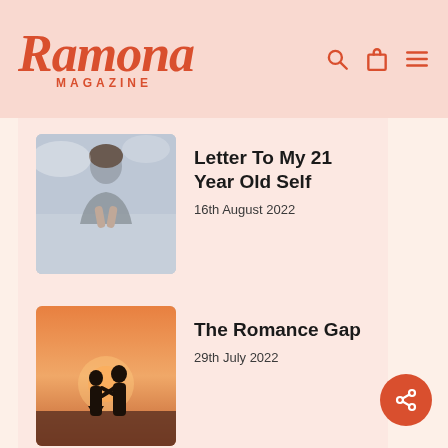Ramona MAGAZINE
Letter To My 21 Year Old Self
16th August 2022
The Romance Gap
29th July 2022
What We Don't Say About Our Mental Illnesses
12th August 2022